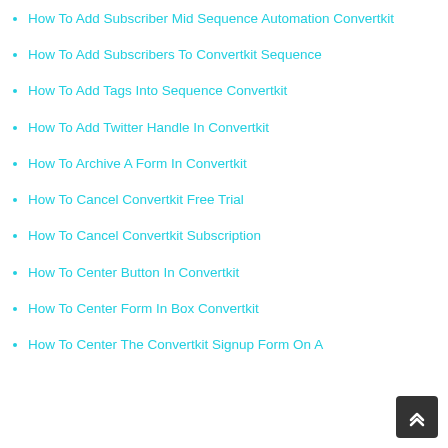How To Add Subscriber Mid Sequence Automation Convertkit
How To Add Subscribers To Convertkit Sequence
How To Add Tags Into Sequence Convertkit
How To Add Twitter Handle In Convertkit
How To Archive A Form In Convertkit
How To Cancel Convertkit Free Trial
How To Cancel Convertkit Subscription
How To Center Button In Convertkit
How To Center Form In Box Convertkit
How To Center The Convertkit Signup Form On A